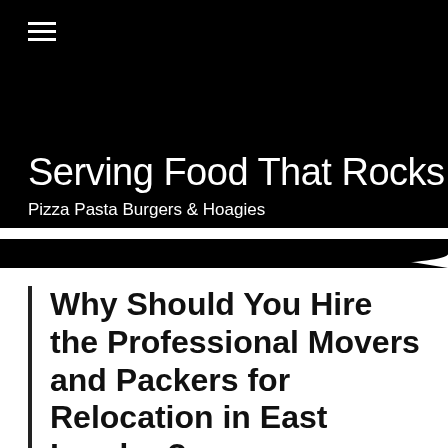≡
Serving Food That Rocks
Pizza Pasta Burgers & Hoagies
Why Should You Hire the Professional Movers and Packers for Relocation in East London?